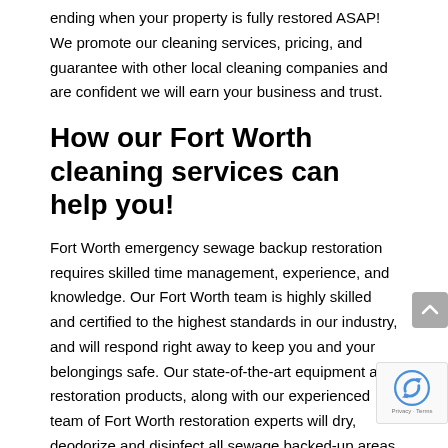ending when your property is fully restored ASAP! We promote our cleaning services, pricing, and guarantee with other local cleaning companies and are confident we will earn your business and trust.
How our Fort Worth cleaning services can help you!
Fort Worth emergency sewage backup restoration requires skilled time management, experience, and knowledge. Our Fort Worth team is highly skilled and certified to the highest standards in our industry, and will respond right away to keep you and your belongings safe. Our state-of-the-art equipment and restoration products, along with our experienced team of Fort Worth restoration experts will dry, deodorize and disinfect all sewage backed-up areas to reverse all damage and get your life back on track.
List of services we provide